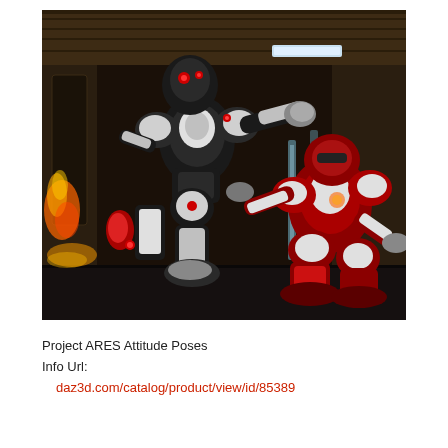[Figure (illustration): 3D rendered scene showing two robotic armored figures in a combat pose inside a dark industrial corridor. One black and white robot appears to be striking downward while a red and white robot is crouching/defending. The environment has wooden/metal walls, glowing lights, and fire effects on the left side.]
Project ARES Attitude Poses
Info Url:
  daz3d.com/catalog/product/view/id/85389